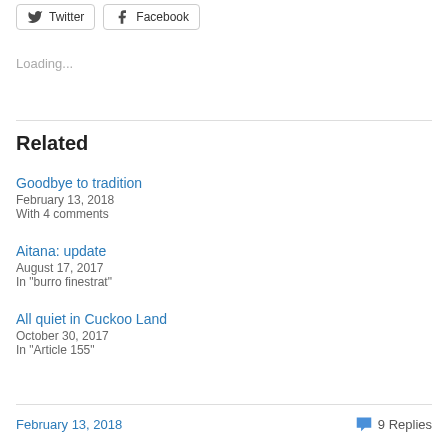[Figure (other): Twitter and Facebook share buttons]
Loading...
Related
Goodbye to tradition
February 13, 2018
With 4 comments
Aitana: update
August 17, 2017
In "burro finestrat"
All quiet in Cuckoo Land
October 30, 2017
In "Article 155"
February 13, 2018   9 Replies